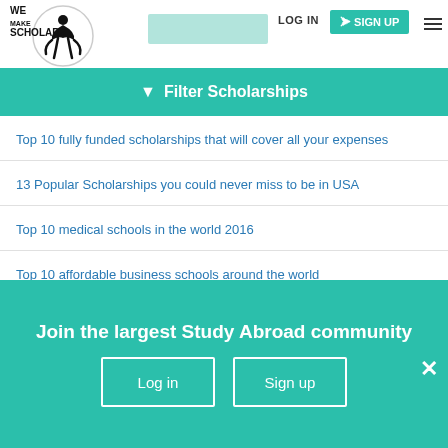[Figure (logo): We Make Scholars logo with silhouette figure and circle]
Filter Scholarships
Top 10 fully funded scholarships that will cover all your expenses
13 Popular Scholarships you could never miss to be in USA
Top 10 medical schools in the world 2016
Top 10 affordable business schools around the world
Study abroad | Egypt for Post Graduation
Top 10 Reasons to Choose Canada for Higher education
Join the largest Study Abroad community
Log in
Sign up